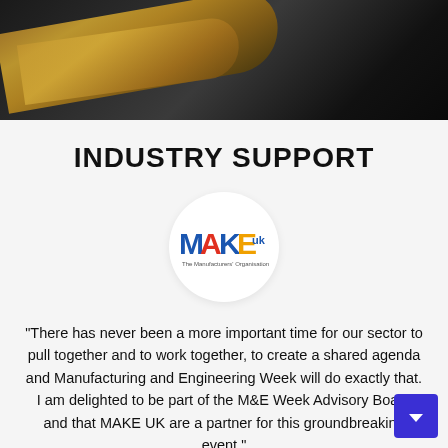[Figure (photo): Dark industrial background photo with metallic/golden curved cylindrical elements against a dark background]
INDUSTRY SUPPORT
[Figure (logo): MAKE UK - The Manufacturers' Organisation logo inside a white circle]
“There has never been a more important time for our sector to pull together and to work together, to create a shared agenda and Manufacturing and Engineering Week will do exactly that. I am delighted to be part of the M&E Week Advisory Board and that MAKE UK are a partner for this groundbreaking event.”